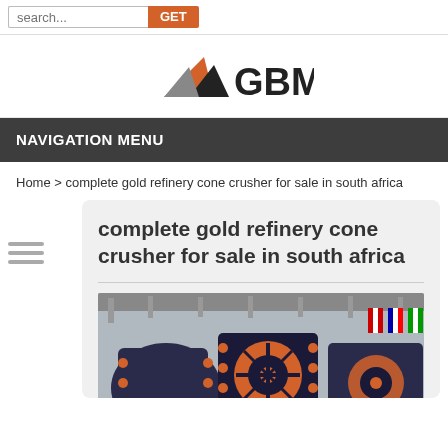search... GET
[Figure (logo): GBM logo with orange and black mountain/arrow shapes and text GBM]
NAVIGATION MENU
Home > complete gold refinery cone crusher for sale in south africa
complete gold refinery cone crusher for sale in south africa
[Figure (photo): Industrial jaw crusher machines in a factory/exhibition hall with orange circular flywheel, orange dots on the dark body, various flags in the background]